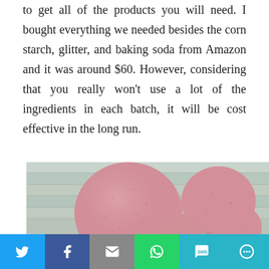to get all of the products you will need. I bought everything we needed besides the corn starch, glitter, and baking soda from Amazon and it was around $60. However, considering that you really won't use a lot of the ingredients in each batch, it will be cost effective in the long run.
[Figure (photo): Photo of several pink glittery bath bombs of different sizes arranged on a light wooden surface]
[Figure (infographic): Social media sharing bar with Twitter (blue), Facebook (dark blue), Email (gray), WhatsApp (green), SMS (light blue), and More (teal) buttons]